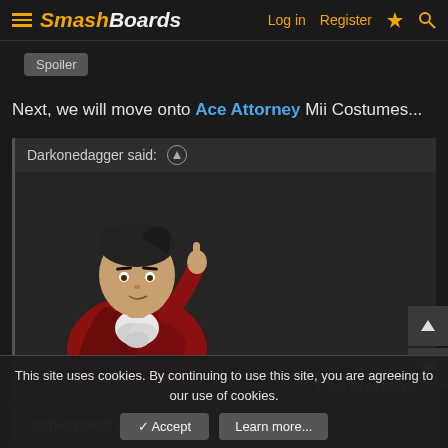SmashBoards — Log in  Register
Spoiler
Next, we will move onto Ace Attorney Mii Costumes...
Darkonedagger said: ↑
[Figure (illustration): Anime-style character in a red suit with white ruffled cravat, pointing upward with one finger, with dark hair. Click to expand...]
cashregister9 said: ↑
This site uses cookies. By continuing to use this site, you are agreeing to our use of cookies.
✓ Accept   Learn more...